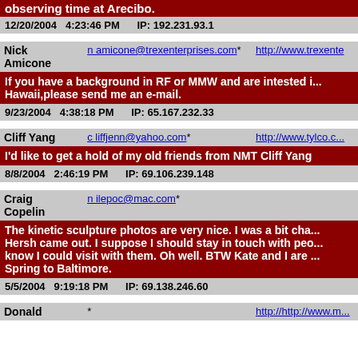observing time at Arecibo.
12/20/2004   4:23:46 PM       IP: 192.231.93.1
| Name | Email | URL |
| --- | --- | --- |
| Nick Amicone | n amicone@trexenterprises.com* | http://www.trexente... |
If you have a background in RF or MMW and are intested i... Hawaii,please send me an e-mail.
9/23/2004   4:38:18 PM       IP: 65.167.232.33
| Name | Email | URL |
| --- | --- | --- |
| Cliff Yang | c liffjenn@yahoo.com* | http://www.tylco.c... |
I'd like to get a hold of my old friends from NMT Cliff Yang
8/8/2004   2:46:19 PM       IP: 69.106.239.148
| Name | Email | URL |
| --- | --- | --- |
| Craig Copelin | n ilepoc@mac.com* |  |
The kinetic sculpture photos are very nice. I was a bit cha... Hersh came out. I suppose I should stay in touch with peo... know I could visit with them. Oh well. BTW Kate and I are ... Spring to Baltimore.
5/5/2004   9:19:18 PM       IP: 69.138.246.60
| Name | Email | URL |
| --- | --- | --- |
| Donald | * | http://http://www.m... |